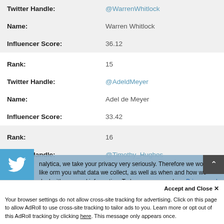| Field | Value |
| --- | --- |
| Twitter Handle: | @WarrenWhitlock |
| Name: | Warren Whitlock |
| Influencer Score: | 36.12 |
| Rank: | 15 |
| Twitter Handle: | @AdeldMeyer |
| Name: | Adel de Meyer |
| Influencer Score: | 33.42 |
| Rank: | 16 |
| Twitter Handle: | @Timothy_Hughes |
alytica, we take your privacy very seriously. Therefore we would like orm you what data we collect, as well as when and how we deal with personal information. To learn more, read our Privacy and Cookie Policy. If you have any questions, don't hesitate to contact us.
Accept and Close ✕
Your browser settings do not allow cross-site tracking for advertising. Click on this page to allow AdRoll to use cross-site tracking to tailor ads to you. Learn more or opt out of this AdRoll tracking by clicking here. This message only appears once.